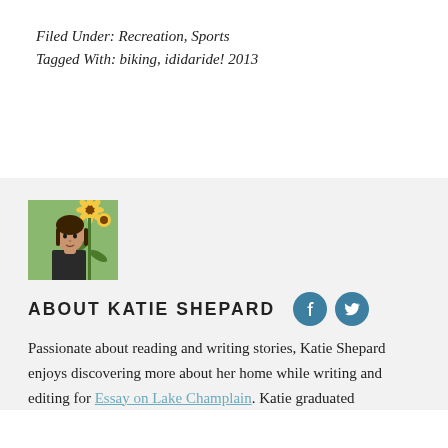Filed Under: Recreation, Sports
Tagged With: biking, ididaride! 2013
[Figure (photo): Photo of Katie Shepard standing in front of sunflowers]
ABOUT KATIE SHEPARD
Passionate about reading and writing stories, Katie Shepard enjoys discovering more about her home while writing and editing for Essay on Lake Champlain. Katie graduated